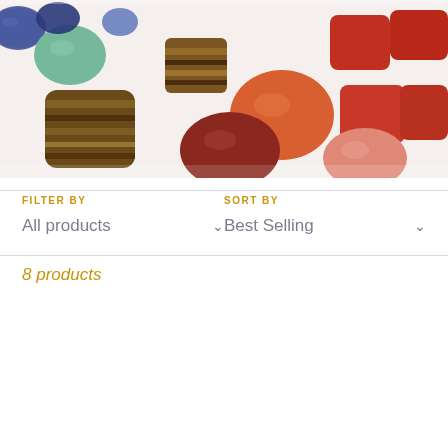[Figure (photo): Photo of assorted colorful tumbled gemstones and crystals arranged on a white surface, including tiger's eye, carnelian, green aventurine, red jasper, lapis lazuli, and other polished stones in various colors.]
FILTER BY
All products
SORT BY
Best Selling
8 products